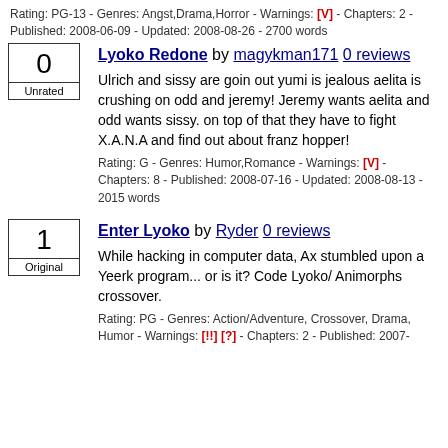Rating: PG-13 - Genres: Angst,Drama,Horror - Warnings: [V] - Chapters: 2 - Published: 2008-06-09 - Updated: 2008-08-26 - 2700 words
Lyoko Redone by magykman171 0 reviews
Ulrich and sissy are goin out yumi is jealous aelita is crushing on odd and jeremy! Jeremy wants aelita and odd wants sissy. on top of that they have to fight X.A.N.A and find out about franz hopper!
0 Unrated
Rating: G - Genres: Humor,Romance - Warnings: [V] - Chapters: 8 - Published: 2008-07-16 - Updated: 2008-08-13 - 2015 words
Enter Lyoko by Ryder 0 reviews
While hacking in computer data, Ax stumbled upon a Yeerk program... or is it? Code Lyoko/Animorphs crossover.
1 Original
Rating: PG - Genres: Action/Adventure, Crossover, Drama, Humor - Warnings: [!!] [?] - Chapters: 2 - Published: 2007-